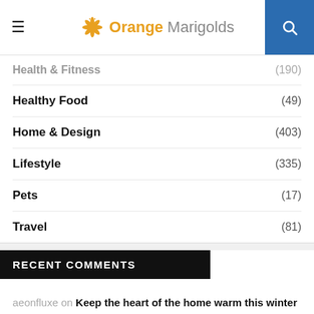Orange Marigolds
Health & Fitness (190)
Healthy Food (49)
Home & Design (403)
Lifestyle (335)
Pets (17)
Travel (81)
RECENT COMMENTS
aeonfluxe on Keep the heart of the home warm this winter
traboo1031 on Things to Consider This winter for a Sassy and Chic Look
rakchiangmai on Keep the heart of the home warm this winter